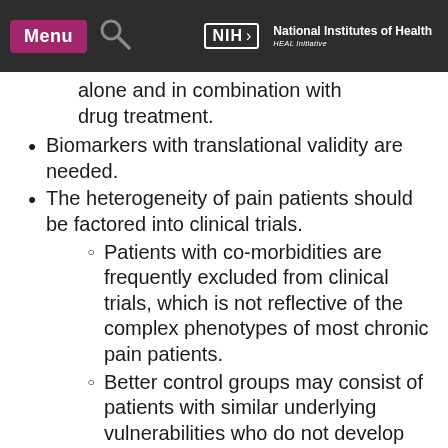Menu | [search icon] | NIH National Institutes of Health HEAL Initiative
alone and in combination with drug treatment.
Biomarkers with translational validity are needed.
The heterogeneity of pain patients should be factored into clinical trials.
Patients with co-morbidities are frequently excluded from clinical trials, which is not reflective of the complex phenotypes of most chronic pain patients.
Better control groups may consist of patients with similar underlying vulnerabilities who do not develop chronic pain.